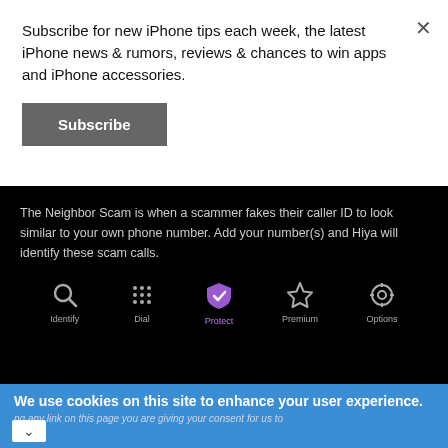Subscribe for new iPhone tips each week, the latest iPhone news & rumors, reviews & chances to win apps and iPhone accessories.
Subscribe
[Figure (screenshot): Mobile app screenshot on black background showing Hiya app. Text reads: 'The Neighbor Scam is when a scammer fakes their caller ID to look similar to your own phone number. Add your number(s) and Hiya will identify these scam calls.' Below are navigation icons: Identify, Dial, Protect (highlighted in purple), Premium, Options.]
We use cookies on this site to enhance your user experience.
ng any link on this page you are giving your consent for us to
[Figure (logo): Hair Cuttery logo - HC in black circle on yellow background, with navigation arrow icon in blue diamond on right. Text: Book a Same Day Appointment, Hair Cuttery]